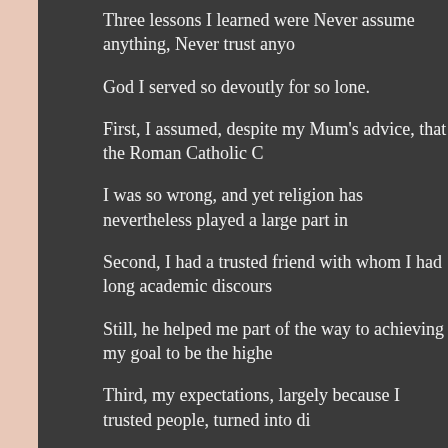Three lessons I learned were Never assume anything, Never trust anyo
God I served so devoutly for so lone.
First, I assumed, despite my Mum's advice, that the Roman Catholic C
I was so wrong, and yet religion has nevertheless played a large part in
Second, I had a trusted friend with whom I had long academic discours
Still, he helped me part of the way to achieving my goal to be the highe
Third, my expectations, largely because I trusted people, turned into di
So I learned that it is never ever good to count your chickens before th
Health and Answers
In my young life I suffered all manner of maladies beginning with Pi